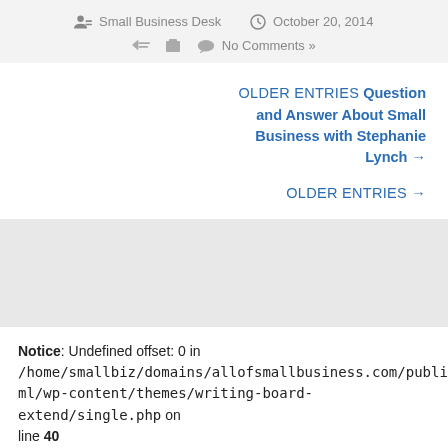Small Business Desk   October 20, 2014   No Comments »
OLDER ENTRIES Question and Answer About Small Business with Stephanie Lynch →
OLDER ENTRIES →
Notice: Undefined offset: 0 in /home/smallbiz/domains/allofsmallbusiness.com/public_html/wp-content/themes/writing-board-extend/single.php on line 40